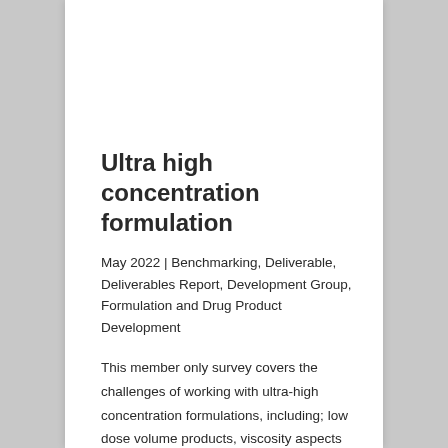Ultra high concentration formulation
May 2022 | Benchmarking, Deliverable, Deliverables Report, Development Group, Formulation and Drug Product Development
This member only survey covers the challenges of working with ultra-high concentration formulations, including; low dose volume products, viscosity aspects related to manufacturing and delivery, manufacturing and filling, automated screening, analytical challenges, osmolality considerations (hyper and hypo),